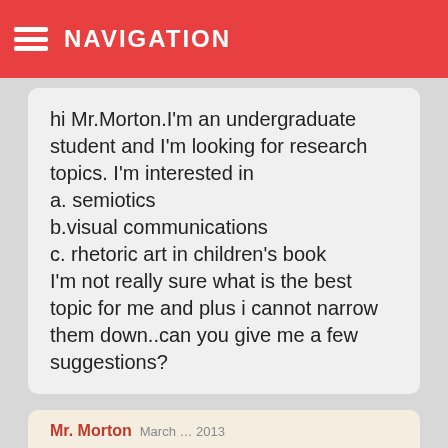NAVIGATION
Anas / April 15, 2013
hi Mr.Morton.I'm an undergraduate student and I'm looking for research topics. I'm interested in
a. semiotics
b.visual communications
c. rhetoric art in children's book
I'm not really sure what is the best topic for me and plus i cannot narrow them down..can you give me a few suggestions?
Mr. Morton